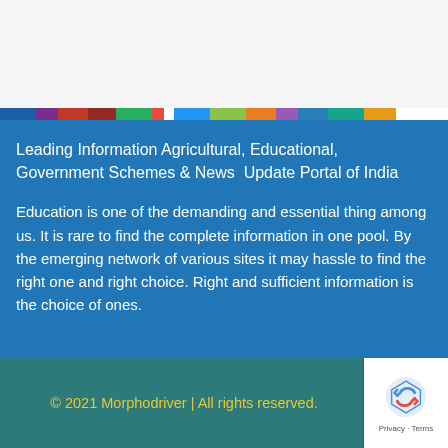[Figure (other): Top white/light gray background area]
[Figure (other): Horizontal multicolor bar with segments: blue, purple, red, dark red, green, red, light blue, yellow-green, orange, purple, blue, teal, orange]
Leading Information Agricultural, Educational, Government Schemes & News  Update Portal of India
Education is one of the demanding and essential thing among us. It is rare to find the complete information in one pool. By the emerging network of various sites it may hassle to find the right one and right choice. Right and sufficient information is the choice of ones.
© 2021 Morphodriver | All rights reserved.